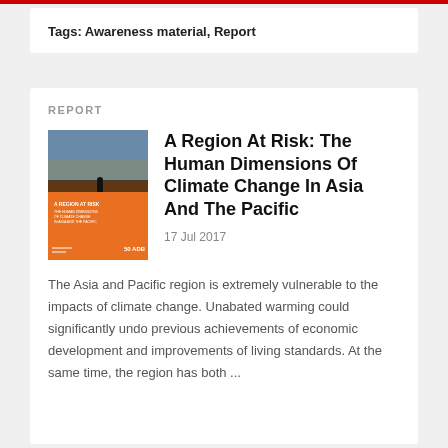Tags: Awareness material, Report
REPORT
A Region At Risk: The Human Dimensions Of Climate Change In Asia And The Pacific
17 Jul 2017
[Figure (illustration): Book cover of 'A Region At Risk: The Human Dimensions of Climate Change in Asia and the Pacific' with orange and blue imagery and ADB logo]
The Asia and Pacific region is extremely vulnerable to the impacts of climate change. Unabated warming could significantly undo previous achievements of economic development and improvements of living standards. At the same time, the region has both ...